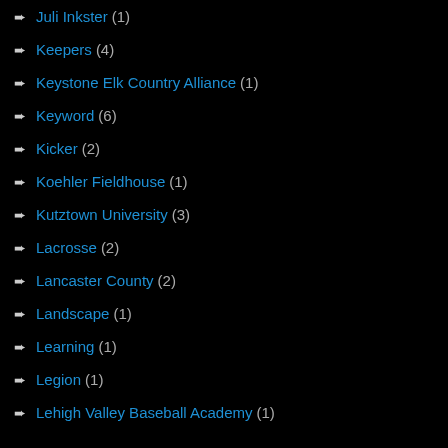Juli Inkster (1)
Keepers (4)
Keystone Elk Country Alliance (1)
Keyword (6)
Kicker (2)
Koehler Fieldhouse (1)
Kutztown University (3)
Lacrosse (2)
Lancaster County (2)
Landscape (1)
Learning (1)
Legion (1)
Lehigh Valley Baseball Academy (1)